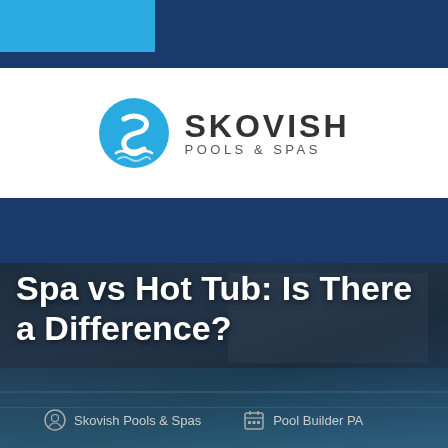[Figure (logo): Skovish Pools & Spas logo with stylized S icon and wordmark]
[Figure (screenshot): Website navigation bar with hamburger menu button and FREE QUOTE button on dark blue background]
[Figure (photo): Dark overlay hero image of a swimming pool area with buildings in background]
Spa vs Hot Tub: Is There a Difference?
Skovish Pools & Spas   Pool Builder PA